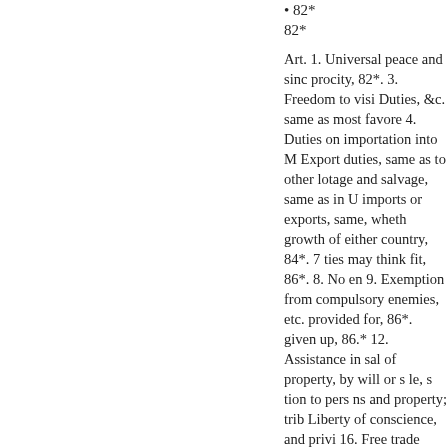• 82*
82*
Art. 1. Universal peace and sinc procity, 82*. 3. Freedom to visi Duties, &c. same as most favore 4. Duties on importation into M Export duties, same as to other lotage and salvage, same as in U imports or exports, same, wheth growth of either country, 84*. 7 ties may think fit, 86*. 8. No en 9. Exemption from compulsory enemies, etc. provided for, 86*. given up, 86.* 12. Assistance in sal of property, by will or s le, s tion to pers ns and property; trib Liberty of conscience, and privi 16. Free trade with those at enm
The flag to protect the passenge
And to cover property to apply
17. Neutral property on board e liable to confiscation. 18 Contra